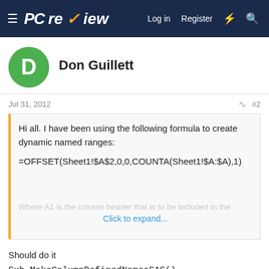PCreview — Log in  Register
Don Guillett
Jul 31, 2012  #2
Hi all. I have been using the following formula to create dynamic named ranges:

=OFFSET(Sheet1!$A$2,0,0,COUNTA(Sheet1!$A:$A),1)

Where A1 is the column header that is to be included in the

Click to expand...
Should do it
Sub MakeColumnDefinedNamesSAS()
Dim i As Long
Dim lr As Long